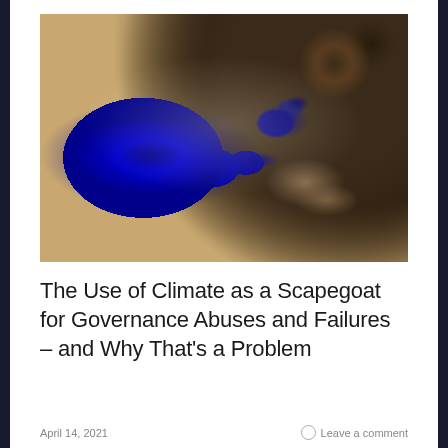[Figure (photo): Satellite aerial photograph showing a large dark blue lake or reservoir surrounded by arid, sandy, brown terrain with dry river channels and rocky outcroppings visible in the landscape.]
The Use of Climate as a Scapegoat for Governance Abuses and Failures – and Why That's a Problem
April 14, 2021
Leave a comment